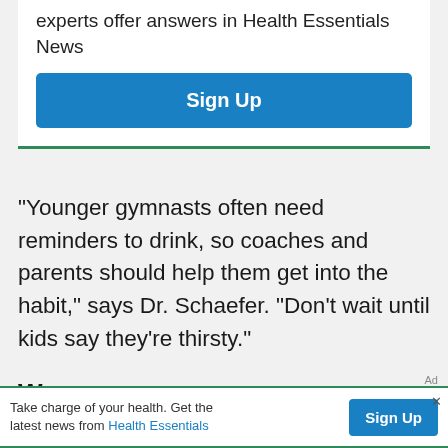experts offer answers in Health Essentials News
[Figure (other): Sign Up button (blue, rounded rectangle)]
“Younger gymnasts often need reminders to drink, so coaches and parents should help them get into the habit,” says Dr. Schaefer. “Don’t wait until kids say they’re thirsty.”
Wa... (partial heading, obscured)
Ad
Take charge of your health. Get the latest news from Health Essentials
[Figure (other): Sign Up button in ad banner (blue)]